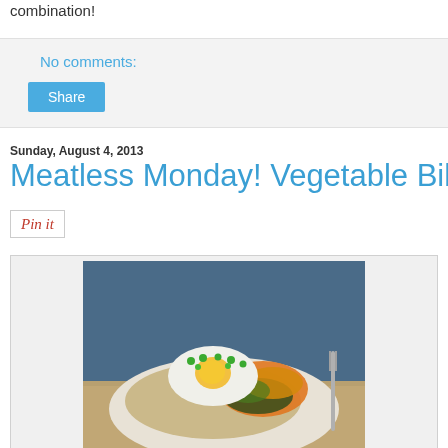combination!
No comments:
Share
Sunday, August 4, 2013
Meatless Monday! Vegetable Bibimbap
[Figure (other): Pin it button/badge]
[Figure (photo): A bowl of vegetable bibimbap with a fried egg on top, garnished with green onions, served with rice and colorful sauteed vegetables, photographed on a rustic burlap surface with a blue background.]